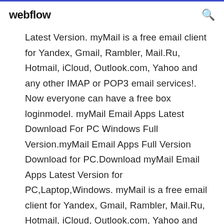webflow
Latest Version. myMail is a free email client for Yandex, Gmail, Rambler, Mail.Ru, Hotmail, iCloud, Outlook.com, Yahoo and any other IMAP or POP3 email services!. Now everyone can have a free box loginmodel. myMail Email Apps Latest Download For PC Windows Full Version.myMail Email Apps Full Version Download for PC.Download myMail Email Apps Latest Version for PC,Laptop,Windows. myMail is a free email client for Yandex, Gmail, Rambler, Mail.Ru, Hotmail, iCloud, Outlook.com, Yahoo and any other IMAP or POP3 email services!. Now everyone can have a free box loginmodel. Clicking the "Download" button above will also recommend offline related downloads.